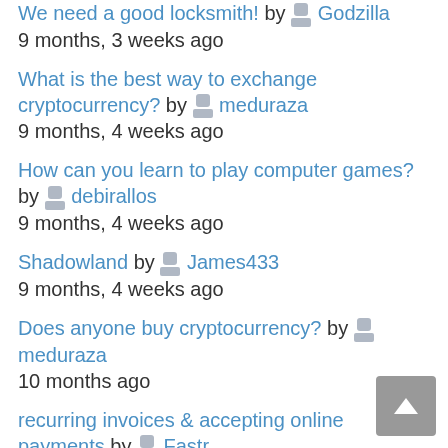We need a good locksmith! by Godzilla
9 months, 3 weeks ago
What is the best way to exchange cryptocurrency? by meduraza
9 months, 4 weeks ago
How can you learn to play computer games? by debirallos
9 months, 4 weeks ago
Shadowland by James433
9 months, 4 weeks ago
Does anyone buy cryptocurrency? by meduraza
10 months ago
recurring invoices & accepting online payments by Fastr
10 months ago